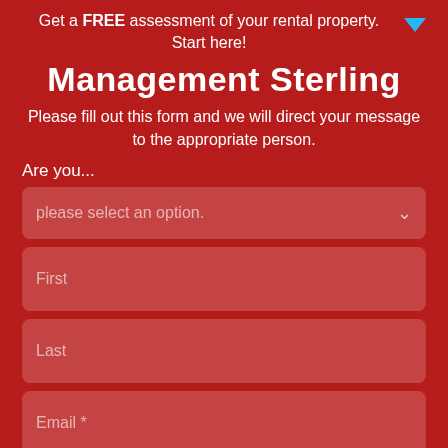Get a FREE assessment of your rental property. Start here!
Management Sterling
Please fill out this form and we will direct your message to the appropriate person.
Are you...
please select an option.
First
Last
Email *
Phone *